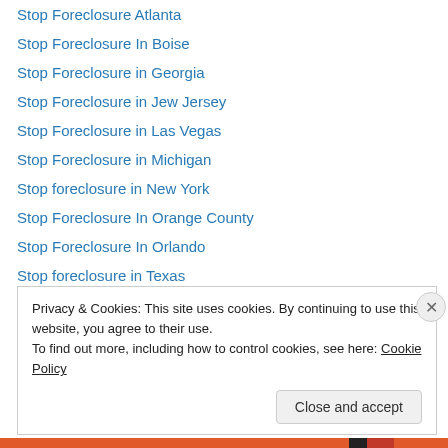Stop Foreclosure Atlanta
Stop Foreclosure In Boise
Stop Foreclosure in Georgia
Stop Foreclosure in Jew Jersey
Stop Foreclosure in Las Vegas
Stop Foreclosure in Michigan
Stop foreclosure in New York
Stop Foreclosure In Orange County
Stop Foreclosure In Orlando
Stop foreclosure in Texas
Texas Real Estate -Sell My House
we buy houses
We Buy Houses Nation Wide
Privacy & Cookies: This site uses cookies. By continuing to use this website, you agree to their use. To find out more, including how to control cookies, see here: Cookie Policy
Close and accept